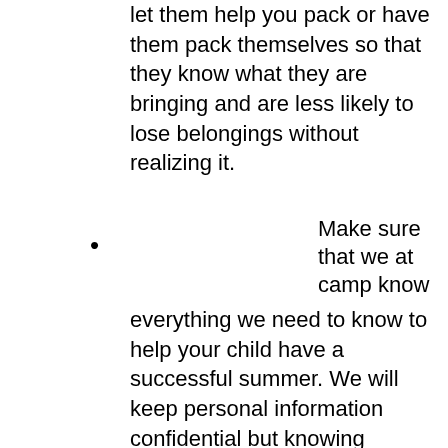let them help you pack or have them pack themselves so that they know what they are bringing and are less likely to lose belongings without realizing it.
Make sure that we at camp know everything we need to know to help your child have a successful summer. We will keep personal information confidential but knowing what's going on in your child's life can help us do our best job for them. (ie. Impending divorce, death in the family (including pets!), recent issues in school)